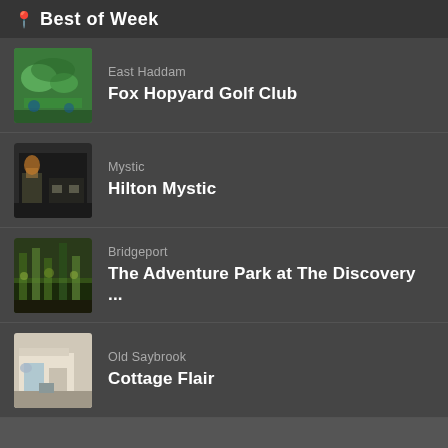Best of Week
East Haddam
Fox Hopyard Golf Club
Mystic
Hilton Mystic
Bridgeport
The Adventure Park at The Discovery ...
Old Saybrook
Cottage Flair